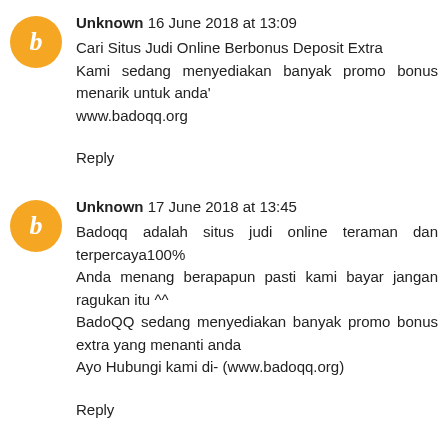Unknown 16 June 2018 at 13:09
Cari Situs Judi Online Berbonus Deposit Extra
Kami sedang menyediakan banyak promo bonus menarik untuk anda'
www.badoqq.org
Reply
Unknown 17 June 2018 at 13:45
Badoqq adalah situs judi online teraman dan terpercaya100%
Anda menang berapapun pasti kami bayar jangan ragukan itu ^^
BadoQQ sedang menyediakan banyak promo bonus extra yang menanti anda
Ayo Hubungi kami di- (www.badoqq.org)
Reply
ABG HORNY 18 June 2018 at 14:08
Cari Agen PokerOnline Yang Berlimnah Bonus Extra